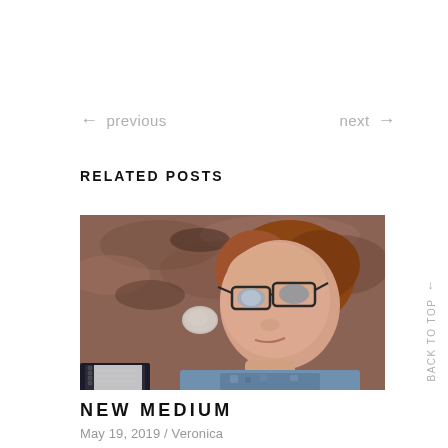← previous
next →
RELATED POSTS
[Figure (photo): Woman lying on rocky ground, looking up at camera, wearing glasses and a blue patterned top, with a notebook visible at the bottom left]
NEW MEDIUM
May 19, 2019 / Veronica
BACK TO TOP →